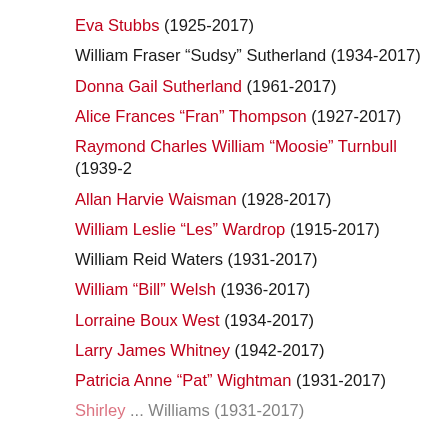Eva Stubbs (1925-2017)
William Fraser “Sudsy” Sutherland (1934-2017)
Donna Gail Sutherland (1961-2017)
Alice Frances “Fran” Thompson (1927-2017)
Raymond Charles William “Moosie” Turnbull (1939-2...
Allan Harvie Waisman (1928-2017)
William Leslie “Les” Wardrop (1915-2017)
William Reid Waters (1931-2017)
William “Bill” Welsh (1936-2017)
Lorraine Boux West (1934-2017)
Larry James Whitney (1942-2017)
Patricia Anne “Pat” Wightman (1931-2017)
Shirley ... Williams (1931-2017)